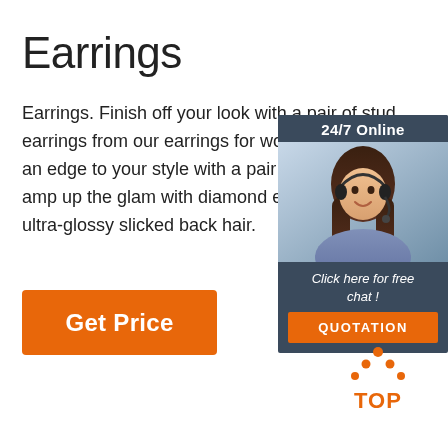Earrings
Earrings. Finish off your look with a pair of stud earrings from our earrings for women co... an edge to your style with a pair of silve... amp up the glam with diamond earrings ultra-glossy slicked back hair.
[Figure (other): Orange 'Get Price' button]
[Figure (other): 24/7 Online chat widget with customer service representative photo, 'Click here for free chat!' text, and orange QUOTATION button]
[Figure (other): Orange TOP button/icon at bottom right]